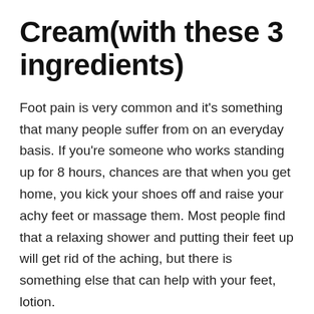Cream(with these 3 ingredients)
Foot pain is very common and it's something that many people suffer from on an everyday basis. If you're someone who works standing up for 8 hours, chances are that when you get home, you kick your shoes off and raise your achy feet or massage them. Most people find that a relaxing shower and putting their feet up will get rid of the aching, but there is something else that can help with your feet, lotion.
More and more companies are selling foot lotions, creams, and gels for achy feet and it's important to